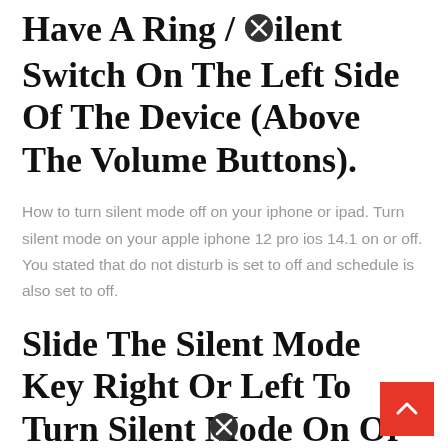Have A Ring / Silent Switch On The Left Side Of The Device (Above The Volume Buttons).
How to turn silent mode off on your iphone or ipad. Turn silent mode on your apple iphone 12 pro ios 14.1 on or off. You stated that do not disturb is set to off and schedule is also set to off.
Slide The Silent Mode Key Right Or Left To Turn Silent Mode On Or Off.
Open settings phone silence unknown callers: Make sure that the ring is on or above. For now, that this feature...